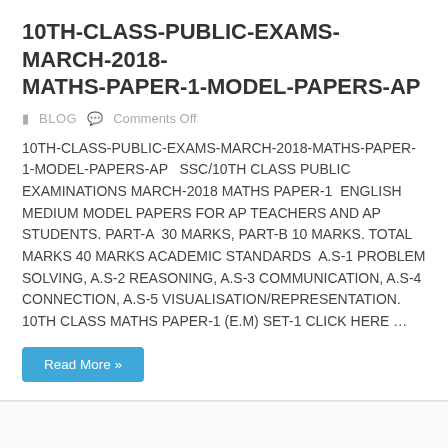10TH-CLASS-PUBLIC-EXAMS-MARCH-2018-MATHS-PAPER-1-MODEL-PAPERS-AP
BLOG   Comments Off
10TH-CLASS-PUBLIC-EXAMS-MARCH-2018-MATHS-PAPER-1-MODEL-PAPERS-AP   SSC/10TH CLASS PUBLIC EXAMINATIONS MARCH-2018 MATHS PAPER-1  ENGLISH MEDIUM MODEL PAPERS FOR AP TEACHERS AND AP STUDENTS. PART-A  30 MARKS, PART-B 10 MARKS. TOTAL MARKS 40 MARKS ACADEMIC STANDARDS  A.S-1 PROBLEM SOLVING, A.S-2 REASONING, A.S-3 COMMUNICATION, A.S-4 CONNECTION, A.S-5 VISUALISATION/REPRESENTATION. 10TH CLASS MATHS PAPER-1 (E.M) SET-1 CLICK HERE …
Read More »